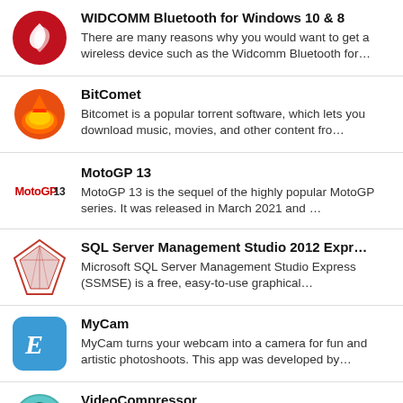WIDCOMM Bluetooth for Windows 10 & 8 — There are many reasons why you would want to get a wireless device such as the Widcomm Bluetooth for…
BitComet — Bitcomet is a popular torrent software, which lets you download music, movies, and other content fro…
MotoGP 13 — MotoGP 13 is the sequel of the highly popular MotoGP series. It was released in March 2021 and …
SQL Server Management Studio 2012 Expr… — Microsoft SQL Server Management Studio Express (SSMSE) is a free, easy-to-use graphical…
MyCam — MyCam turns your webcam into a camera for fun and artistic photoshoots. This app was developed by…
VideoCompressor — VideoCompressor is a simple yet efficient app, which